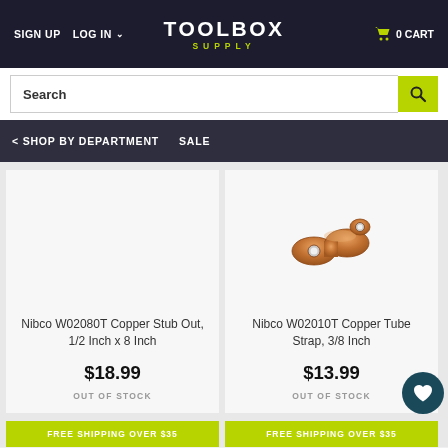SIGN UP  LOG IN  TOOLBOX SUPPLY  0 CART
Search
< SHOP BY DEPARTMENT   SALE
[Figure (photo): No product image shown for Nibco W02080T Copper Stub Out]
Nibco W02080T Copper Stub Out, 1/2 Inch x 8 Inch
$18.99
OUT OF STOCK
[Figure (photo): Photo of Nibco W02010T Copper Tube Strap, 3/8 Inch - a copper colored double-hole pipe strap clamp]
Nibco W02010T Copper Tube Strap, 3/8 Inch
$13.99
OUT OF STOCK
FREE SHIPPING OVER $35
FREE SHIPPING OVER $35